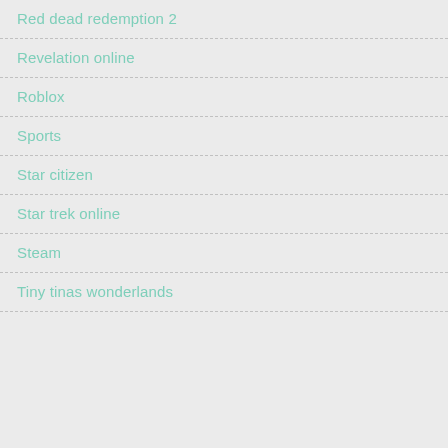Red dead redemption 2
Revelation online
Roblox
Sports
Star citizen
Star trek online
Steam
Tiny tinas wonderlands